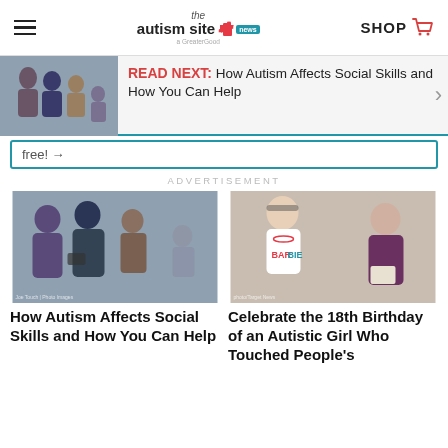the autism site news | SHOP
[Figure (screenshot): Read Next banner: teenagers studying together, with text 'READ NEXT: How Autism Affects Social Skills and How You Can Help']
free! →
ADVERTISEMENT
[Figure (photo): Teenagers studying together on phones and books — article thumbnail for 'How Autism Affects Social Skills and How You Can Help']
How Autism Affects Social Skills and How You Can Help
[Figure (photo): Young woman in Barbie t-shirt smiling; woman in purple shirt reading — article thumbnail for 'Celebrate the 18th Birthday of an Autistic Girl Who Touched People's']
Celebrate the 18th Birthday of an Autistic Girl Who Touched People's